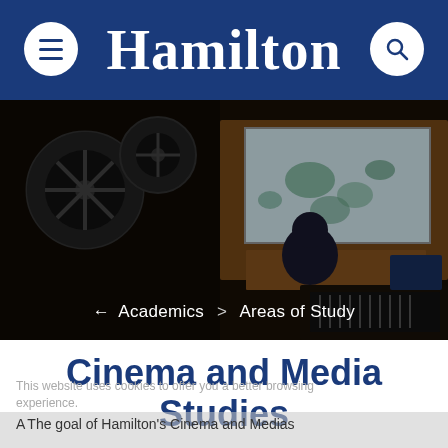Hamilton
[Figure (photo): A film projection room with a person operating equipment, film reels visible, and a projection screen showing a landscape. Breadcrumb navigation overlaid: ← Academics > Areas of Study]
← Academics > Areas of Study
Cinema and Media Studies
This website uses cookies to offer you a better browsing experience.
The goal of Hamilton's Cinema and Media